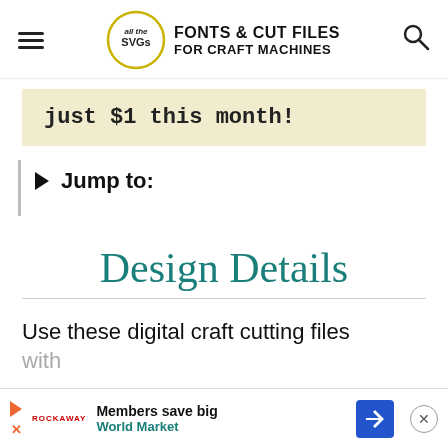all the SVGs FONTS & CUT FILES FOR CRAFT MACHINES
just $1 this month!
Jump to:
Design Details
Use these digital craft cutting files
with
[Figure (other): Advertisement banner: Members save big - World Market, with play button logo, blue diamond direction icon, and close button]